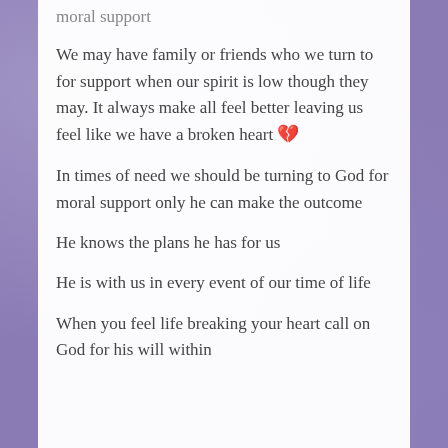moral support
We may have family or friends who we turn to for support when our spirit is low though they may. It always make all feel better leaving us feel like we have a broken heart 💔
In times of need we should be turning to God for moral support only he can make the outcome
He knows the plans he has for us
He is with us in every event of our time of life
When you feel life breaking your heart call on God for his will within